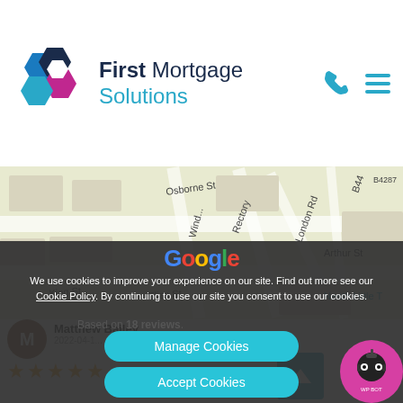[Figure (logo): First Mortgage Solutions logo with hexagon icon in blue, navy and magenta, with company name in navy and cyan]
[Figure (map): Google Maps view showing streets including Osborne St, King St, Elias St, Rectory, London Rd, Arthur St, B44, and Neath Little T]
[Figure (screenshot): Cookie consent overlay with Google branding, cookie policy text, Manage Cookies and Accept Cookies buttons]
We use cookies to improve your experience on our site. Find out more see our Cookie Policy. By continuing to use our site you consent to use our cookies.
Based on 18 reviews.
Matthew Bailey
2022-04-1...
★★★★★